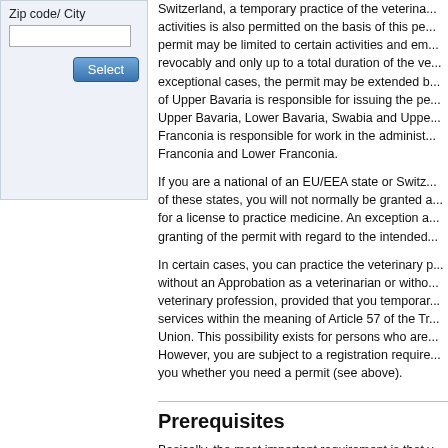Zip code/ City
Switzerland, a temporary practice of the veterinary activities is also permitted on the basis of this permit. The permit may be limited to certain activities and em... revocably and only up to a total duration of the ve... exceptional cases, the permit may be extended b... of Upper Bavaria is responsible for issuing the pe... Upper Bavaria, Lower Bavaria, Swabia and Uppe... Franconia is responsible for work in the administ... Franconia and Lower Franconia.
If you are a national of an EU/EEA state or Switz... of these states, you will not normally be granted a... for a license to practice medicine. An exception a... granting of the permit with regard to the intended...
In certain cases, you can practice the veterinary p... without an Approbation as a veterinarian or witho... veterinary profession, provided that you temporar... services within the meaning of Article 57 of the Tr... Union. This possibility exists for persons who are... However, you are subject to a registration require... you whether you need a permit (see above).
Prerequisites
Basically, the most important requirement is that y... veterinary training according to the law of the sta...
Other requirements are:
that you have not been guilty of any cond... unreliable to practice as a veterinarian (re...
you are not unfit to practice as a veterin...